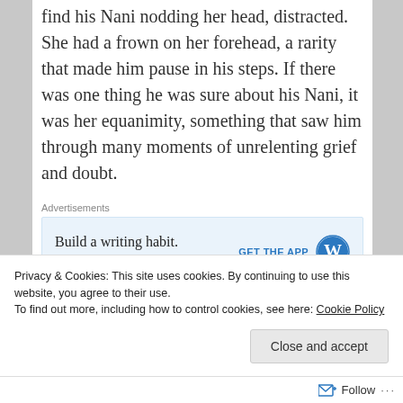find his Nani nodding her head, distracted. She had a frown on her forehead, a rarity that made him pause in his steps. If there was one thing he was sure about his Nani, it was her equanimity, something that saw him through many moments of unrelenting grief and doubt.
Advertisements
[Figure (infographic): WordPress app advertisement banner with text 'Build a writing habit. Post on the go.' and a 'GET THE APP' call to action with WordPress logo]
Privacy & Cookies: This site uses cookies. By continuing to use this website, you agree to their use.
To find out more, including how to control cookies, see here: Cookie Policy
Close and accept
Follow